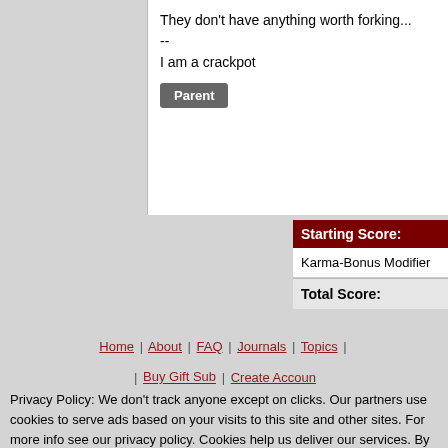They don't have anything worth forking...
--
I am a crackpot
Parent
Starting Score:
Karma-Bonus Modifier
Total Score:
Moderator Help
Search
Home | About | FAQ | Journals | Topics | | Buy Gift Sub | Create Account
Privacy Policy: We don't track anyone except on clicks. Our partners use cookies to serve ads based on your visits to this site and other sites. For more info see our privacy policy. Cookies help us deliver our services. By using our services, you agree to our use of cookies.